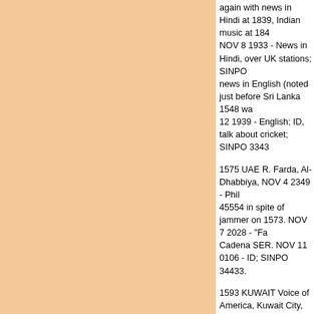again with news in Hindi at 1839, Indian music at 184... NOV 8 1933 - News in Hindi, over UK stations; SINPO... news in English (noted just before Sri Lanka 1548 wa... 12 1939 - English; ID, talk about cricket; SINPO 3343...
1575 UAE R. Farda, Al-Dhabbiya, NOV 4 2349 - Phil... 45554 in spite of jammer on 1573. NOV 7 2028 - "Fa... Cadena SER. NOV 11 0106 - ID; SINPO 34433.
1593 KUWAIT Voice of America, Kuwait City, NOV 9 2... lesson; SINPO 33443.
1593 ROMANIA R. Târgu Mures, Miercurea Cluc, NO... anthem; SINPO 32432.
1593 ROMANIA R. Romania, Ion Korvan, NOV 5 200... anthem of Târgu Mures and station in Arabic, news in... also 1 kHz het.
1602 SPAIN SER R. Cartagena, NOV 7 2154 - Local... before rejoining net at 2200; SINPO 22332 under R. V... Cartagena" ID; SINPO 24332.
1627 GREECE/SERBIA Pirate, NOV 13 2103 - Balka... noise, hard to identify language.
1635.96 PIRATE/NETHERLANDS Weduwe, NOV 13... yodelling, greetings to listeners and other "amateurs",... SINPO 25333. (Thanks to Radio Barones with help id...
1689.07 GREECE/S Pirate, also note at Ca...